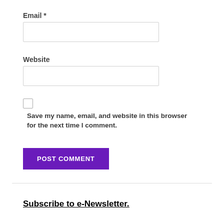Email *
Website
Save my name, email, and website in this browser for the next time I comment.
POST COMMENT
Subscribe to e-Newsletter.